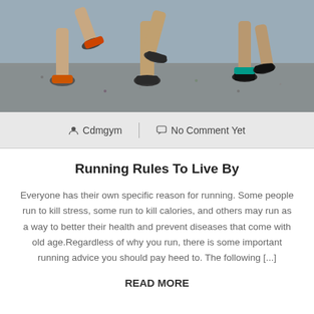[Figure (photo): Photo of runners' legs from the knees down on a gravel/dirt surface, wearing running shoes with colorful socks]
Cdmgym  |  No Comment Yet
Running Rules To Live By
Everyone has their own specific reason for running. Some people run to kill stress, some run to kill calories, and others may run as a way to better their health and prevent diseases that come with old age.Regardless of why you run, there is some important running advice you should pay heed to. The following [...]
READ MORE